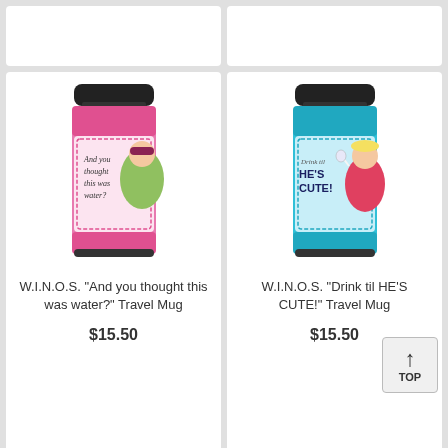[Figure (photo): Partial top of two product cards cut off at top of page]
[Figure (photo): Travel mug with pink background and cartoon woman, text 'And you thought this was water?' - W.I.N.O.S. product]
W.I.N.O.S. "And you thought this was water?" Travel Mug
$15.50
[Figure (photo): Travel mug with blue background and cartoon blonde woman, text 'Drink til HE'S CUTE!' - W.I.N.O.S. product]
W.I.N.O.S. "Drink til HE'S CUTE!" Travel Mug
$15.50
[Figure (photo): Partial bottom travel mug with colorful pattern, cut off at bottom of page]
[Figure (photo): Partial bottom travel mug with pink pattern, cut off at bottom of page]